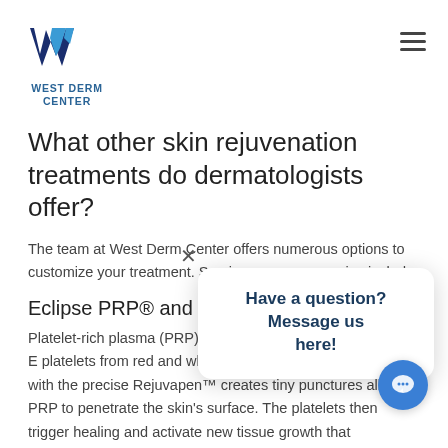[Figure (logo): West Derm Center logo with stylized W in dark blue and light blue, and text WEST DERM CENTER below]
What other skin rejuvenation treatments do dermatologists offer?
The team at West Derm Center offers numerous options to customize your treatment. Services you may receive include:
Eclipse PRP® and micron
Platelet-rich plasma (PRP) is m blood, using the cutting-edge E platelets from red and white blood cells. Microneedling with the precise Rejuvapen™ creates tiny punctures allow PRP to penetrate the skin's surface. The platelets then trigger healing and activate new tissue growth that
[Figure (screenshot): Chat popup overlay with X close button, saying 'Have a question? Message us here!' and a blue circular chat button with speech bubble icon]